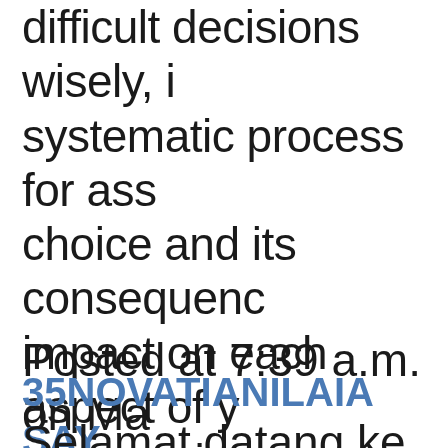difficult decisions wisely, i… systematic process for ass… choice and its consequenc… impact on each aspect of y… us experiences defeats in … transform defeat into victo… from life's whuppings.
Posted at 7:39 a.m. on Ma…
35NOVATIANILAIA SAY…
Selamat datang ke situs IB…